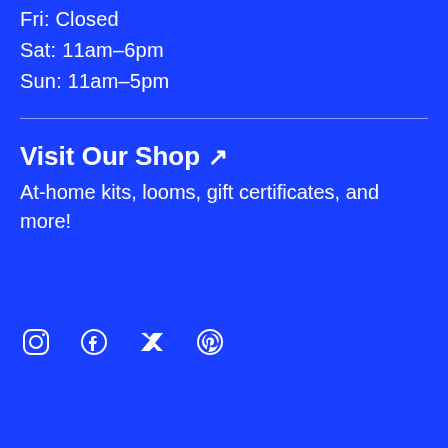Fri: Closed
Sat: 11am–6pm
Sun: 11am–5pm
Visit Our Shop ↗
At-home kits, looms, gift certificates, and more!
[Figure (infographic): Social media icons for Instagram, Facebook, Twitter, and Pinterest displayed in white on blue background]